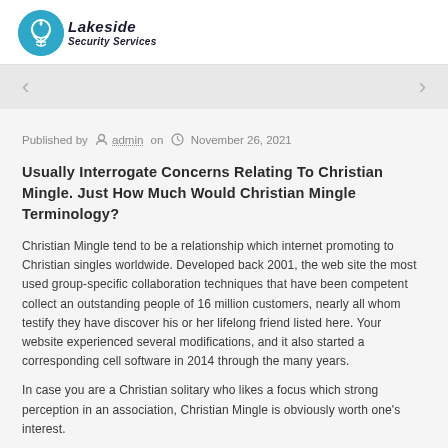[Figure (logo): Lakeside Security Services logo with blue circle icon and italic text]
Published by admin on November 26, 2021
Usually Interrogate Concerns Relating To Christian Mingle. Just How Much Would Christian Mingle Terminology?
Christian Mingle tend to be a relationship which internet promoting to Christian singles worldwide. Developed back 2001, the web site the most used group-specific collaboration techniques that have been competent collect an outstanding people of 16 million customers, nearly all whom testify they have discover his or her lifelong friend listed here. Your website experienced several modifications, and it also started a corresponding cell software in 2014 through the many years.
In case you are a Christian solitary who likes a focus which strong perception in an association, Christian Mingle is obviously worth one's interest.